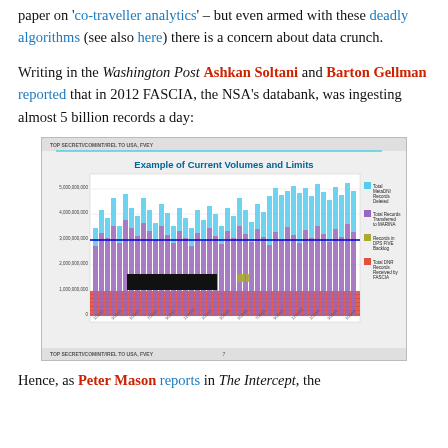paper on 'co-traveller analytics' – but even armed with these deadly algorithms (see also here) there is a concern about data crunch.
Writing in the Washington Post Ashkan Soltani and Barton Gellman reported that in 2012 FASCIA, the NSA's databank, was ingesting almost 5 billion records a day:
[Figure (bar-chart): Classified NSA bar chart showing data volumes over time with multiple series: Total MetaDNI Records Deleted (blue), Total Records Transferred to MARINA (purple), Records in DPS FIVE Backlog (olive/yellow), Total DNR Records Received by FASCIA (red). A horizontal blue line marks a threshold. X-axis shows dates, Y-axis shows record counts up to ~5 billion.]
Hence, as Peter Mason reports in The Intercept, the